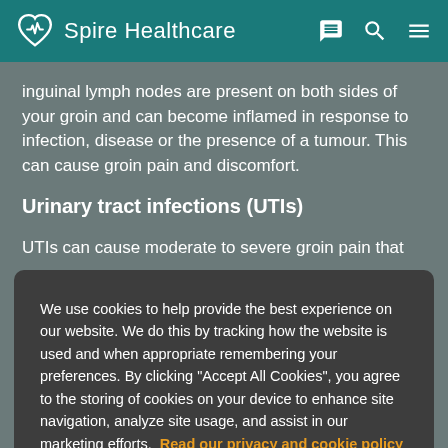Spire Healthcare
inguinal lymph nodes are present on both sides of your groin and can become inflamed in response to infection, disease or the presence of a tumour. This can cause groin pain and discomfort.
Urinary tract infections (UTIs)
UTIs can cause moderate to severe groin pain that
We use cookies to help provide the best experience on our website. We do this by tracking how the website is used and when appropriate remembering your preferences. By clicking "Accept All Cookies", you agree to the storing of cookies on your device to enhance site navigation, analyze site usage, and assist in our marketing efforts.  Read our privacy and cookie policy
Cookies Settings
Accept All Cookies